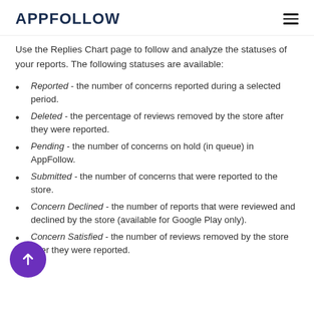APPFOLLOW
Use the Replies Chart page to follow and analyze the statuses of your reports. The following statuses are available:
Reported - the number of concerns reported during a selected period.
Deleted - the percentage of reviews removed by the store after they were reported.
Pending - the number of concerns on hold (in queue) in AppFollow.
Submitted - the number of concerns that were reported to the store.
Concern Declined - the number of reports that were reviewed and declined by the store (available for Google Play only).
Concern Satisfied - the number of reviews removed by the store after they were reported.